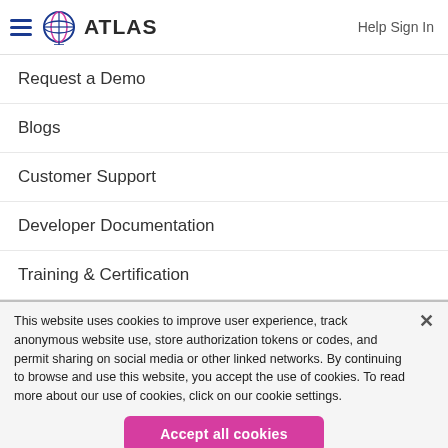ATLAS  Help Sign In
Request a Demo
Blogs
Customer Support
Developer Documentation
Training & Certification
This website uses cookies to improve user experience, track anonymous website use, store authorization tokens or codes, and permit sharing on social media or other linked networks. By continuing to browse and use this website, you accept the use of cookies. To read more about our use of cookies, click on our cookie settings.
Accept all cookies